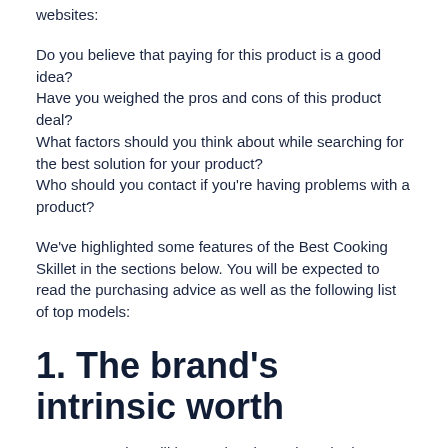websites:
Do you believe that paying for this product is a good idea?
Have you weighed the pros and cons of this product deal?
What factors should you think about while searching for the best solution for your product?
Who should you contact if you're having problems with a product?
We've highlighted some features of the Best Cooking Skillet in the sections below. You will be expected to read the purchasing advice as well as the following list of top models:
1. The brand's intrinsic worth
Consumer value will be used to determine whether